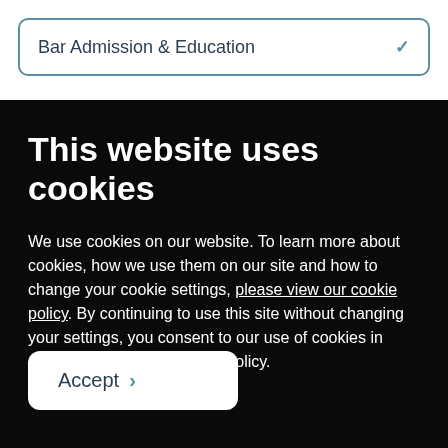Bar Admission & Education
This website uses cookies
We use cookies on our website. To learn more about cookies, how we use them on our site and how to change your cookie settings, please view our cookie policy. By continuing to use this site without changing your settings, you consent to our use of cookies in accordance with our cookie policy.
Accept